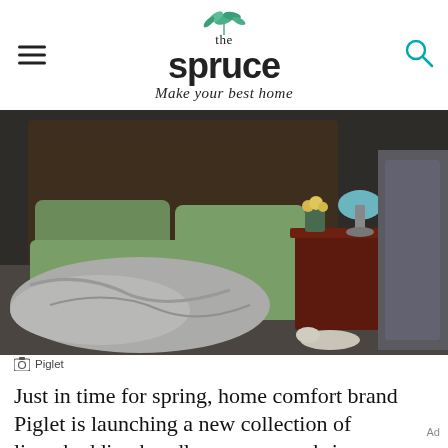the spruce — Make your best home
[Figure (photo): Bedroom scene with green linen bedding, rumpled gray blanket, dark wooden chest nightstand with teal lamp and flowers, moody dark background.]
Piglet
Just in time for spring, home comfort brand Piglet is launching a new collection of linen bedding bundles so you can bring a bit of the outdoors (and the corresponding friluftsliv